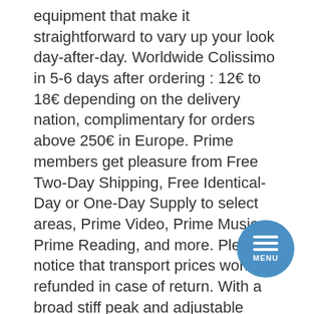equipment that make it straightforward to vary up your look day-after-day. Worldwide Colissimo in 5-6 days after ordering : 12€ to 18€ depending on the delivery nation, complimentary for orders above 250€ in Europe. Prime members get pleasure from Free Two-Day Shipping, Free Identical-Day or One-Day Supply to select areas, Prime Video, Prime Music, Prime Reading, and more. Please notice that transport prices won't be refunded in case of return. With a broad stiff peak and adjustable again the Carnac Cotton Baseball cap is perfect for conserving the sun off your head and oput of your eyes while you're waiting for the professional riders to race past.
If for any reason you aren't fully glad, you possibly can alternate any purchases (including reduced gadgets) within 30 days of receipt. GROUND TRANSPORT Arrives within 2 to 6 business days from when it's shipped. This pure cotton baseball cap is a